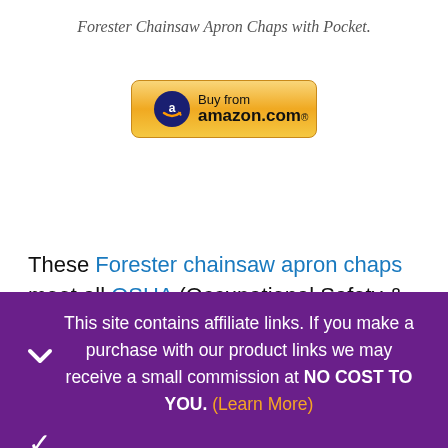Forester Chainsaw Apron Chaps with Pocket.
[Figure (logo): Buy from amazon.com button with Amazon arrow logo on yellow/gold gradient background]
These Forester chainsaw apron chaps meet all OSHA (Occupational Safety & Health Administration) requirements. Made with 1200 denier water and oil...
This site contains affiliate links. If you make a purchase with our product links we may receive a small commission at NO COST TO YOU. (Learn More)
CLOSE